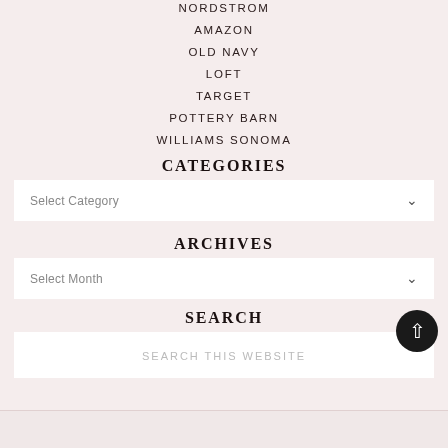NORDSTROM
AMAZON
OLD NAVY
LOFT
TARGET
POTTERY BARN
WILLIAMS SONOMA
CATEGORIES
Select Category
ARCHIVES
Select Month
SEARCH
SEARCH THIS WEBSITE